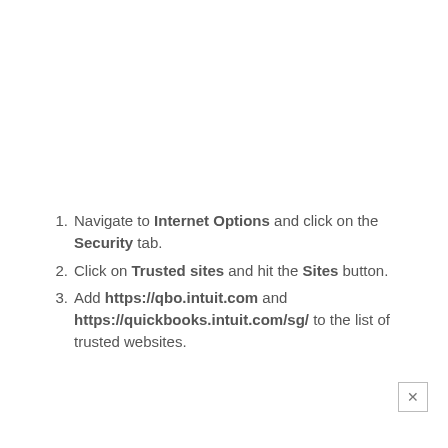Navigate to Internet Options and click on the Security tab.
Click on Trusted sites and hit the Sites button.
Add https://qbo.intuit.com and https://quickbooks.intuit.com/sg/ to the list of trusted websites.